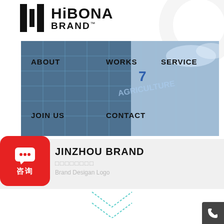[Figure (logo): HiBONA BRAND logo with vertical bar icon on left and bold text HiBONA BRAND TM on right]
[Figure (photo): Navigation bar overlaid on a photo of a modern glass building with blue tinted windows, showing menu items: ABOUT, WORKS, SERVICE, JOIN US, CONTACT]
JINZHOU BRAND
□□□□□□□□
Brand Desigan Logo
[Figure (illustration): Red rounded rectangle button with white chat bubble icon and Chinese text 咨询 (consultation)]
[Figure (illustration): Dashed teal/cyan double chevron down arrows at bottom center of page]
[Figure (illustration): Dark gray square button in bottom right corner with white phone/call icon]